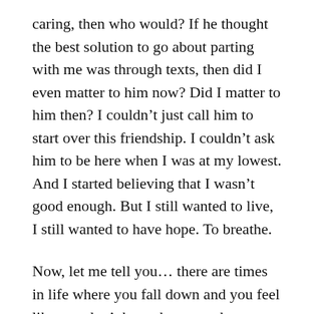caring, then who would? If he thought the best solution to go about parting with me was through texts, then did I even matter to him now? Did I matter to him then? I couldn't just call him to start over this friendship. I couldn't ask him to be here when I was at my lowest. And I started believing that I wasn't good enough. But I still wanted to live, I still wanted to have hope. To breathe.

Now, let me tell you… there are times in life where you fall down and you feel like you don't have the strength to get back up, you sort of put on a mask. A mask where you deny your vulnerable self the chance to breathe and cry. And it starts forming into a survival essential